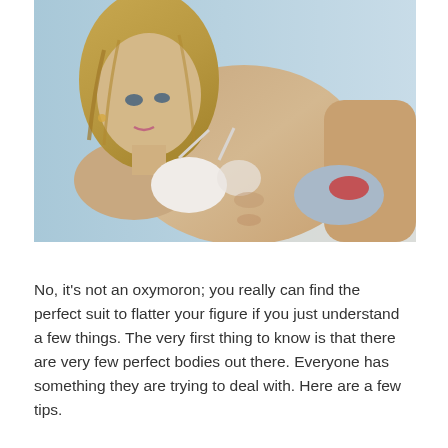[Figure (photo): A woman in a white bikini top and silver/red bikini bottom, posing against a light blue background, looking at the camera with wet blonde hair.]
No, it's not an oxymoron; you really can find the perfect suit to flatter your figure if you just understand a few things. The very first thing to know is that there are very few perfect bodies out there. Everyone has something they are trying to deal with. Here are a few tips.